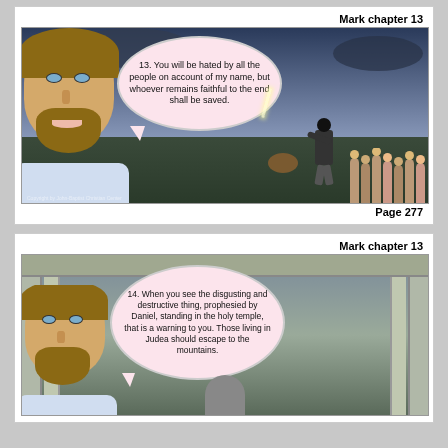Mark chapter 13
[Figure (illustration): Comic panel showing Jesus speaking with a speech bubble. Scene shows a figure in dark clothing standing over a crouching person, with a crowd in the background under a stormy sky.]
13. You will be hated by all the people on account of my name, but whoever remains faithful to the end shall be saved.
Page 277
Mark chapter 13
[Figure (illustration): Comic panel showing Jesus speaking with a speech bubble, with classical architecture columns in the background and a figure below.]
14. When you see the disgusting and destructive thing, prophesied by Daniel, standing in the holy temple, that is a warning to you. Those living in Judea should escape to the mountains.